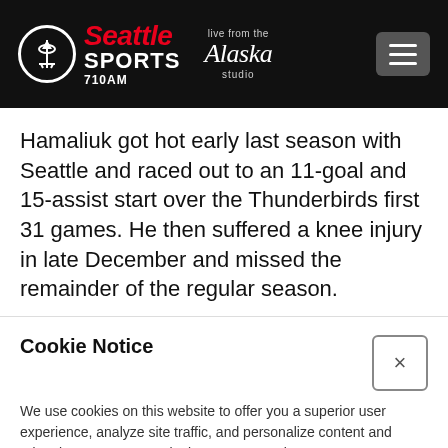Seattle Sports 710AM — Live from the Alaska studio
Hamaliuk got hot early last season with Seattle and raced out to an 11-goal and 15-assist start over the Thunderbirds first 31 games. He then suffered a knee injury in late December and missed the remainder of the regular season.
Cookie Notice
We use cookies on this website to offer you a superior user experience, analyze site traffic, and personalize content and advertisements. By continuing to use our site, you consent to our use of cookies. Please visit our Privacy Policy for more information.